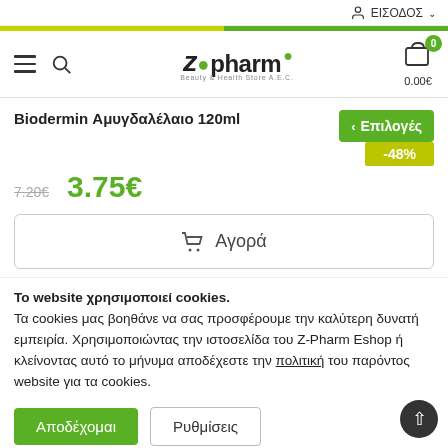ΕΙΣΟΔΟΣ
[Figure (logo): Z-Pharm pharmacy logo with green leaf, tagline Beauty & Health Store A.E.]
Biodermin Αμυγδαλέλαιο 120ml
7.20€  3.75€  < Επιλογές  -48%
🛒 Αγορά
Το website χρησιμοποιεί cookies. Τα cookies μας βοηθάνε να σας προσφέρουμε την καλύτερη δυνατή εμπειρία. Χρησιμοποιώντας την ιστοσελίδα του Z-Pharm Eshop ή κλείνοντας αυτό το μήνυμα αποδέχεστε την πολιτική του παρόντος website για τα cookies.
Αποδέχομαι   Ρυθμίσεις